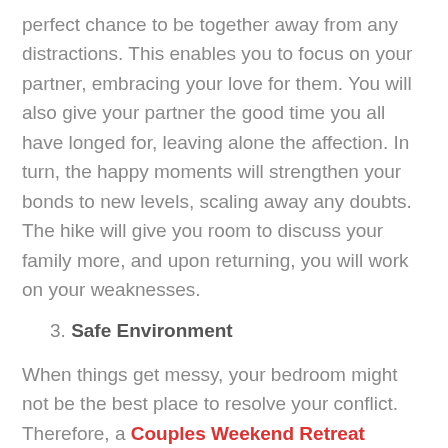perfect chance to be together away from any distractions. This enables you to focus on your partner, embracing your love for them. You will also give your partner the good time you all have longed for, leaving alone the affection. In turn, the happy moments will strengthen your bonds to new levels, scaling away any doubts. The hike will give you room to discuss your family more, and upon returning, you will work on your weaknesses.
3. Safe Environment
When things get messy, your bedroom might not be the best place to resolve your conflict. Therefore, a Couples Weekend Retreat